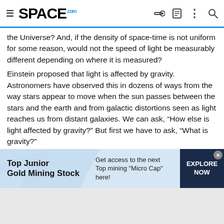SPACE.com
the Universe? And, if the density of space-time is not uniform for some reason, would not the speed of light be measurably different depending on where it is measured?
Einstein proposed that light is affected by gravity. Astronomers have observed this in dozens of ways from the way stars appear to move when the sun passes between the stars and the earth and from galactic distortions seen as light reaches us from distant galaxies. We can ask, “How else is light affected by gravity?” But first we have to ask, “What is gravity?”
Isaac Newton said gravity is the attractive property of matter like magnetism. Einstein said gravity is a distortion of space-time like heavy objects on a rubber sheet. I propose that gravity is neither. If, as I propose, matter is the result of the confluence of waves in the membrane of space-time, then the density of space-time is
[Figure (infographic): Advertisement banner for Top Junior Gold Mining Stock with blue and white wave design and dark navy Explore Now button]